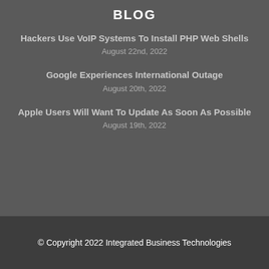BLOG
Hackers Use VoIP Systems To Install PHP Web Shells
August 22nd, 2022
Google Experiences International Outage
August 20th, 2022
Apple Users Will Want To Update As Soon As Possible
August 19th, 2022
© Copyright 2022 Integrated Business Technologies